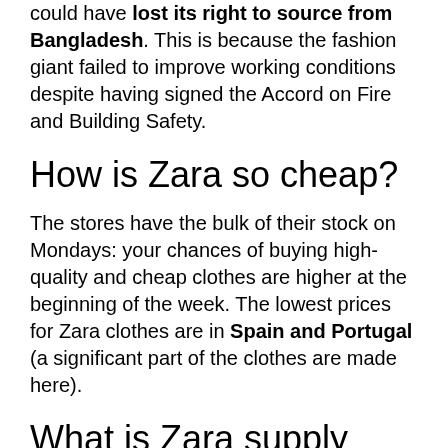could have lost its right to source from Bangladesh. This is because the fashion giant failed to improve working conditions despite having signed the Accord on Fire and Building Safety.
How is Zara so cheap?
The stores have the bulk of their stock on Mondays: your chances of buying high-quality and cheap clothes are higher at the beginning of the week. The lowest prices for Zara clothes are in Spain and Portugal (a significant part of the clothes are made here).
What is Zara supply chain strategy?